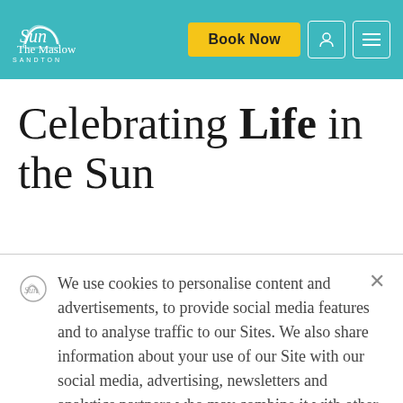The Maslow Sandton – Book Now
Celebrating Life in the Sun
We use cookies to personalise content and advertisements, to provide social media features and to analyse traffic to our Sites. We also share information about your use of our Site with our social media, advertising, newsletters and analytics partners who may combine it with other information that you've provided to them or that they've collected from your use of their services. For more information you can view our Privacy Notice.